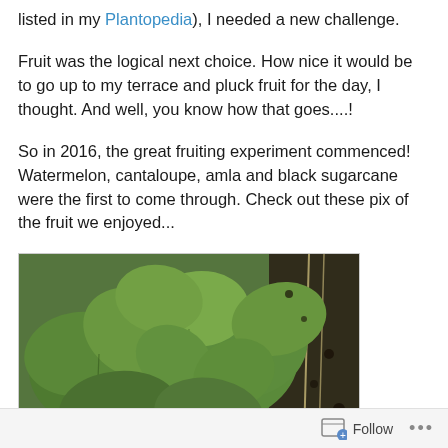listed in my Plantopedia), I needed a new challenge.
Fruit was the logical next choice. How nice it would be to go up to my terrace and pluck fruit for the day, I thought. And well, you know how that goes....!
So in 2016, the great fruiting experiment commenced! Watermelon, cantaloupe, amla and black sugarcane were the first to come through. Check out these pix of the fruit we enjoyed...
[Figure (photo): Close-up photo of green plant leaves (likely watermelon seedlings) growing in a pot with dark soil visible on the right side.]
Follow ...